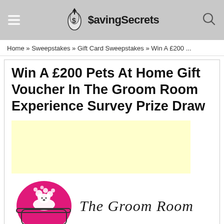SavingSecrets
Home » Sweepstakes » Gift Card Sweepstakes » Win A £200 ...
Win A £200 Pets At Home Gift Voucher In The Groom Room Experience Survey Prize Draw
[Figure (other): Yellow advertisement placeholder rectangle]
[Figure (logo): The Groom Room logo: illustrated dog in bathtub with pink oval background, next to cursive text 'The Groom Room']